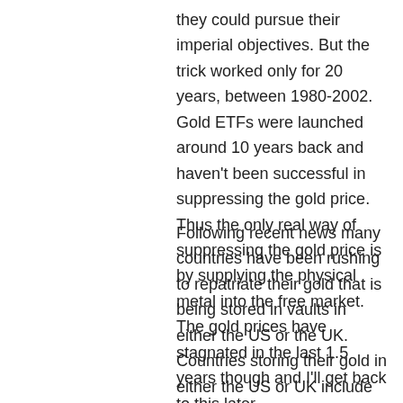they could pursue their imperial objectives. But the trick worked only for 20 years, between 1980-2002. Gold ETFs were launched around 10 years back and haven't been successful in suppressing the gold price. Thus the only real way of suppressing the gold price is by supplying the physical metal into the free market. The gold prices have stagnated in the last 1.5 years though and I'll get back to this later.
Following recent news many countries have been rushing to repatriate their gold that is being stored in vaults in either the US or the UK. Countries storing their gold in either the US or UK include Venezuela, Australia(England stores 99.9% of aussie gold according to recent news), Germany(3000 of their 3000 tonnes of it is held in...